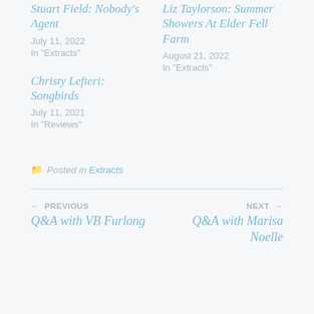Stuart Field: Nobody's Agent
July 11, 2022
In "Extracts"
Liz Taylorson: Summer Showers At Elder Fell Farm
August 21, 2022
In "Extracts"
Christy Lefteri: Songbirds
July 11, 2021
In "Reviews"
Posted in Extracts
← PREVIOUS
Q&A with VB Furlong
NEXT →
Q&A with Marisa Noelle